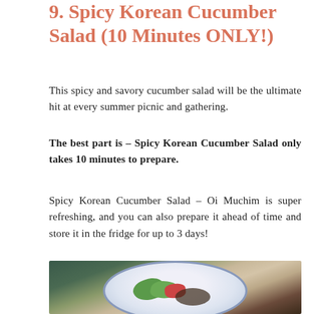9. Spicy Korean Cucumber Salad (10 Minutes ONLY!)
This spicy and savory cucumber salad will be the ultimate hit at every summer picnic and gathering.
The best part is – Spicy Korean Cucumber Salad only takes 10 minutes to prepare.
Spicy Korean Cucumber Salad – Oi Muchim is super refreshing, and you can also prepare it ahead of time and store it in the fridge for up to 3 days!
[Figure (photo): Photo of a plate with Korean cucumber salad garnished with greens and red pepper, placed on a wooden surface with dark background]